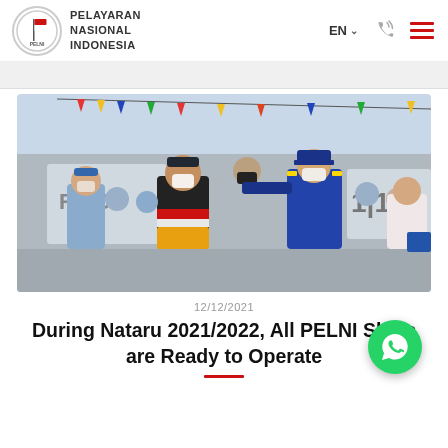PELAYARAN NASIONAL INDONESIA | EN | Logo
[Figure (photo): Outdoor port ceremony with officials in uniform and face masks. A man in a colorful vest with Indonesian flag colors (black, red, white, yellow) and a cap is having something pinned to his vest by a man in a blue maritime uniform. A man in a light blue shirt stands to the left. Other uniformed and masked personnel visible in background near a ship.]
12/12/2021
During Nataru 2021/2022, All PELNI Ships are Ready to Operate